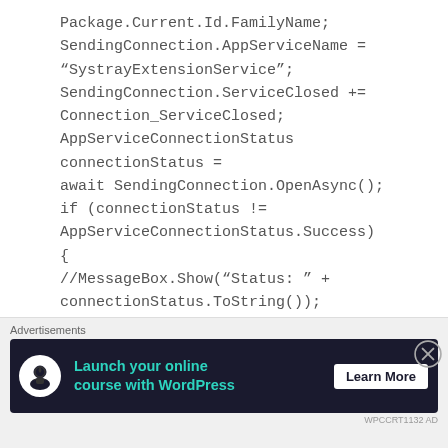Package.Current.Id.FamilyName;
SendingConnection.AppServiceName = "SystrayExtensionService";
SendingConnection.ServiceClosed += Connection_ServiceClosed;
AppServiceConnectionStatus connectionStatus = await SendingConnection.OpenAsync();
if (connectionStatus != AppServiceConnectionStatus.Success)
{
//MessageBox.Show("Status: " + connectionStatus.ToString());
Logger.Instance.WriteToConsole("Statues: " + connectionStatus.ToString());
return;
[Figure (infographic): Advertisement banner: Launch your online course with WordPress — Learn More button, dark background with teal text]